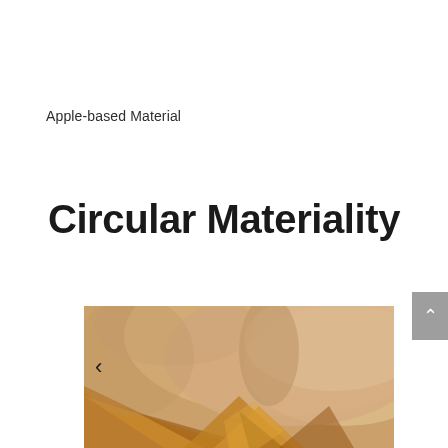Apple-based Material
Circular Materiality
[Figure (photo): Close-up photograph of golden/amber colored fabric or leather material with soft warm tones against a light beige blurred background, with navigation arrows on left and right sides]
[Figure (other): Scroll-to-top button, grey square with white upward chevron arrow]